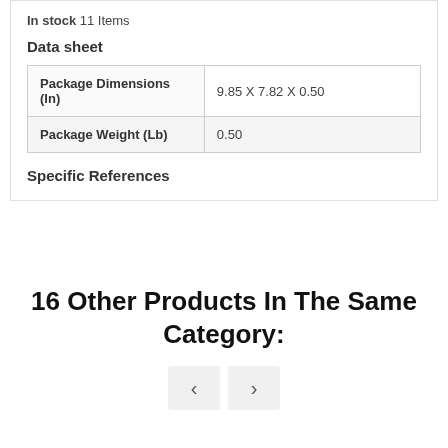In stock  11 Items
Data sheet
| Package Dimensions (In) | 9.85 X 7.82 X 0.50 |
| Package Weight (Lb) | 0.50 |
Specific References
16 Other Products In The Same Category:
[Figure (other): Navigation buttons with left and right arrows for browsing products in the same category]